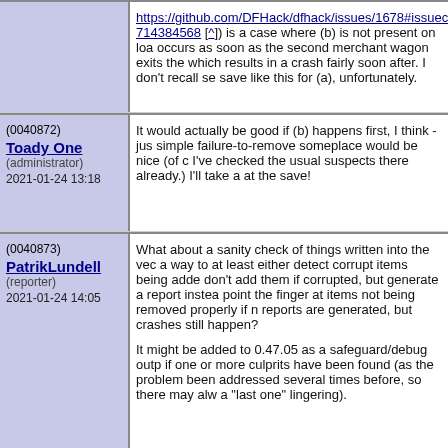https://github.com/DFHack/dfhack/issues/1678#issueco 714384568 [^]) is a case where (b) is not present on loa occurs as soon as the second merchant wagon exits th which results in a crash fairly soon after. I don't recall se save like this for (a), unfortunately.
(0040872) Toady One (administrator) 2021-01-24 13:18
It would actually be good if (b) happens first, I think - jus simple failure-to-remove someplace would be nice (of c I've checked the usual suspects there already.) I'll take a at the save!
(0040873) PatrikLundell (reporter) 2021-01-24 14:05
What about a sanity check of things written into the vec a way to at least either detect corrupt items being adde don't add them if corrupted, but generate a report instea point the finger at items not being removed properly if n reports are generated, but crashes still happen?

It might be added to 0.47.05 as a safeguard/debug outp if one or more culprits have been found (as the problem been addressed several times before, so there may alw a "last one" lingering).
(0040878) Toady One (administrator) 2021-01-25 12:58 edited on: 2021-01-...
The problem seems to be that the corruption isn't from t add/remove. The corruption seems like it is happening afterward, to an item, anywhere in the program.

For instance, in the latest save linked by lethosor above...